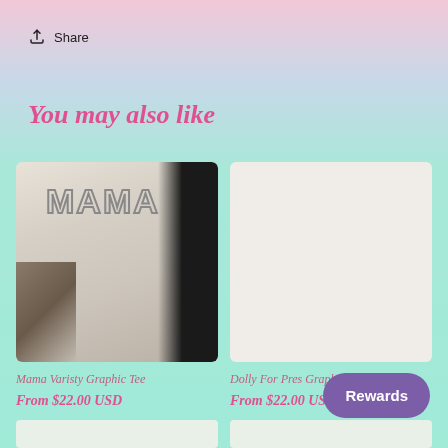Share
You may also like
[Figure (photo): Person wearing a white MAMA varsity graphic tee with tattooed arm visible, long dark hair]
Mama Varisty Graphic Tee
From $22.00 USD
[Figure (photo): Dolly For Pres Graphic Tee product image placeholder (light beige/white background)]
Dolly For Pres Graphic
From $22.00 USD
Rewards